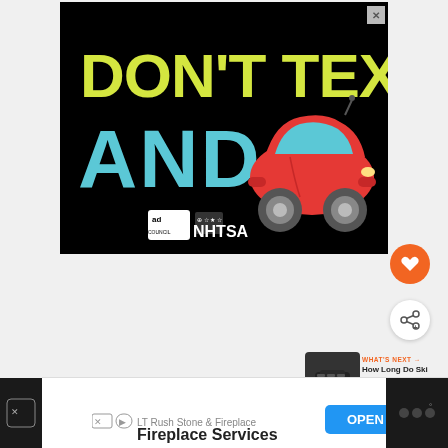[Figure (infographic): Public service announcement advertisement. Black background with large yellow bold text 'DON'T TEXT' and large cyan bold text 'AND' with a red cartoon car emoji to the right. Bottom shows 'ad council' and NHTSA logos. Close button (X) in top-right corner.]
[Figure (other): Orange circular heart/like button]
[Figure (other): White circular share button with share icon]
[Figure (photo): Thumbnail image of ski boots for 'What's Next' recommendation]
WHAT'S NEXT → How Long Do Ski Boots...
[Figure (infographic): Bottom advertisement banner: LT Rush Stone & Fireplace - Fireplace Services - OPEN button]